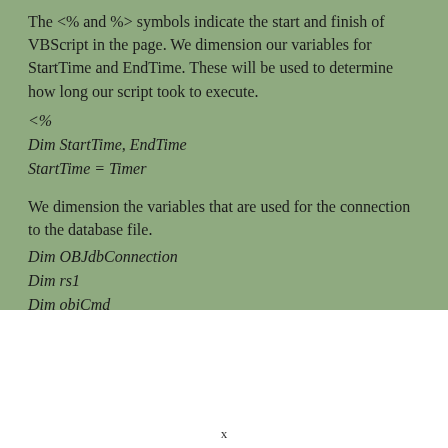The <% and %> symbols indicate the start and finish of VBScript in the page. We dimension our variables for StartTime and EndTime. These will be used to determine how long our script took to execute.
<%
Dim StartTime, EndTime
StartTime = Timer
We dimension the variables that are used for the connection to the database file.
Dim OBJdbConnection
Dim rs1
Dim objCmd
We set up the connection to the database and determine
x